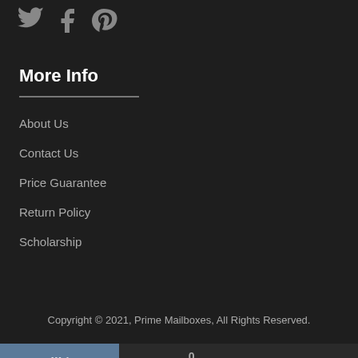[Figure (illustration): Social media icons: Twitter bird, Facebook f, and Pinterest pin icons in gray on dark background]
More Info
About Us
Contact Us
Price Guarantee
Return Policy
Scholarship
Copyright © 2021, Prime Mailboxes, All Rights Reserved.
[Figure (illustration): Bottom navigation bar with add-to-cart button (blue/gray), shopping cart with badge 0, and scroll-to-top arrow icons]